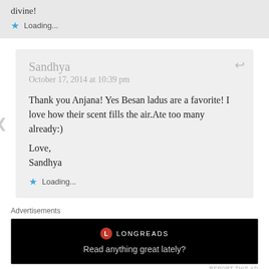divine!
★ Loading...
Sandhya
October 17, 2014 at 10:39 pm
Thank you Anjana! Yes Besan ladus are a favorite! I love how their scent fills the air.Ate too many already:)
Love,
Sandhya
★ Loading...
Advertisements
[Figure (screenshot): Longreads advertisement banner: black background with Longreads logo and text 'Read anything great lately?']
REPORT THIS AD
Sandhya